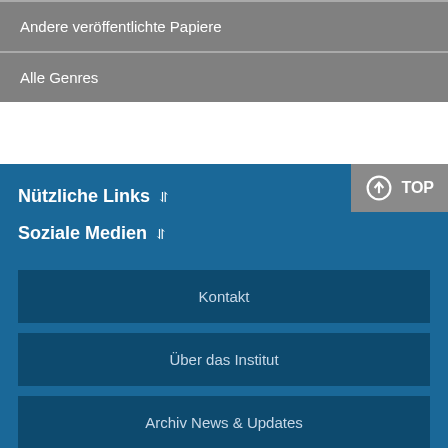Andere veröffentlichte Papiere
Alle Genres
Nützliche Links
Soziale Medien
Kontakt
Über das Institut
Archiv News & Updates